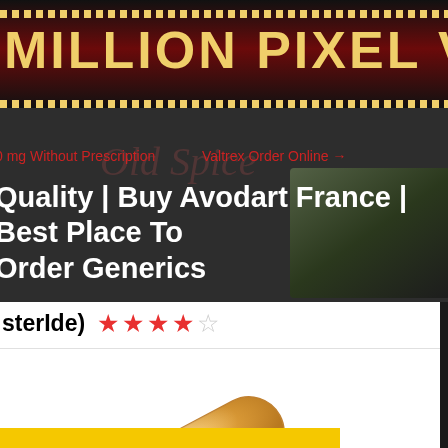MILLION PIXEL VIDEOS
0 mg Without Prescription   Valtrex Order Online →
Quality | Buy Avodart France | Best Place To Order Generics
sterIde)
[Figure (photo): An orange/gold capsule pill labeled GX CE2]
Yellow button bar at bottom